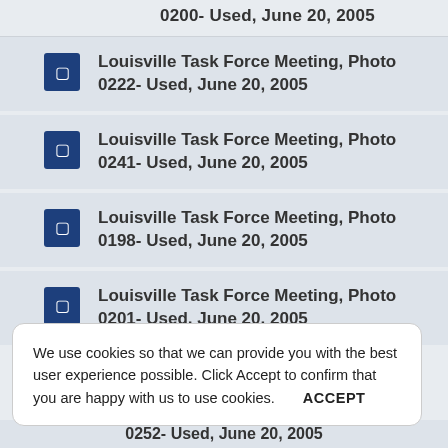0200- Used, June 20, 2005
Louisville Task Force Meeting, Photo 0222- Used, June 20, 2005
Louisville Task Force Meeting, Photo 0241- Used, June 20, 2005
Louisville Task Force Meeting, Photo 0198- Used, June 20, 2005
Louisville Task Force Meeting, Photo 0201- Used, June 20, 2005
We use cookies so that we can provide you with the best user experience possible. Click Accept to confirm that you are happy with us to use cookies. ACCEPT
0252- Used, June 20, 2005